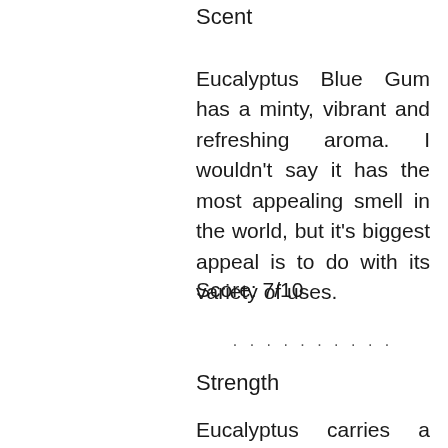Scent
Eucalyptus Blue Gum has a minty, vibrant and refreshing aroma. I wouldn't say it has the most appealing smell in the world, but it's biggest appeal is to do with its variety of uses.
Score: 7/10
...........
Strength
Eucalyptus carries a tenacious odour, that is all too familiar. It